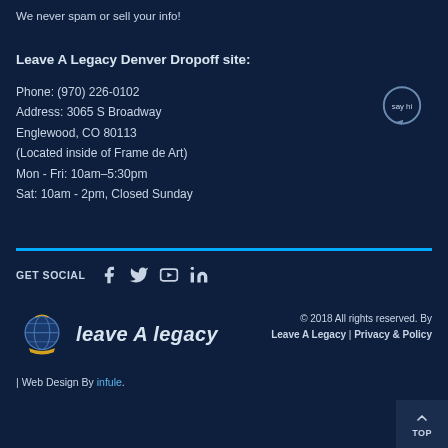We never spam or sell your info!
Leave A Legacy Denver Dropoff site:
Phone: (970) 226-0102
Address: 3065 S Broadway
Englewood, CO 80113
(Located inside of Frame de Art)
Mon - Fri: 10am–5:30pm
Sat: 10am - 2pm, Closed Sunday
GET SOCIAL
[Figure (logo): Leave A Legacy logo with globe/book icon]
© 2018 All rights reserved. By Leave A Legacy | Privacy & Policy
| Web Design By infule.
TOP